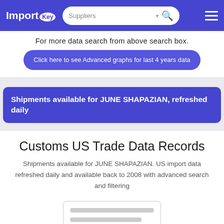ImportKey | Suppliers [search bar] [menu]
For more data search from above search box.
Click here to see Advanced graphs for last 4 years data
Shipments available for JUNE SHAPAZIAN, refreshed daily
Customs US Trade Data Records
Shipments available for JUNE SHAPAZIAN. US import data refreshed daily and available back to 2008 with advanced search and filtering
[Figure (screenshot): Blurred/placeholder preview card showing loading lines]